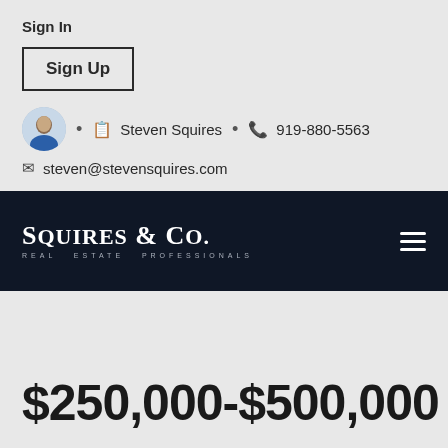Sign In
Sign Up
Steven Squires • 919-880-5563
steven@stevensquires.com
[Figure (logo): Squires & Co. Real Estate Professionals logo on dark navy navigation bar]
$250,000-$500,000